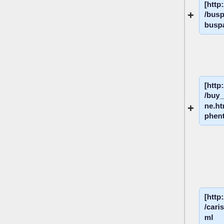[http://rx.auto.pl/buspar.html buspar]
[http://rx.auto.pl/buy_phentermine.html buy phentermine]
[http://rx.auto.pl/carisoprodol.html carisoprodol]
[http://rx.auto.pl/celexa.html celexa]
[http://rx.auto.pl/cheap_viagra.html cheap viagra]
[http://rx.auto.pl/cholesterol.htm